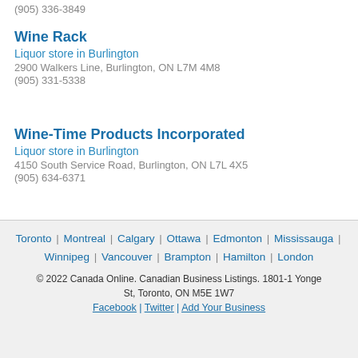(905) 336-3849
Wine Rack
Liquor store in Burlington
2900 Walkers Line, Burlington, ON L7M 4M8
(905) 331-5338
Wine-Time Products Incorporated
Liquor store in Burlington
4150 South Service Road, Burlington, ON L7L 4X5
(905) 634-6371
Toronto | Montreal | Calgary | Ottawa | Edmonton | Mississauga | Winnipeg | Vancouver | Brampton | Hamilton | London
© 2022 Canada Online. Canadian Business Listings. 1801-1 Yonge St, Toronto, ON M5E 1W7
Facebook | Twitter | Add Your Business